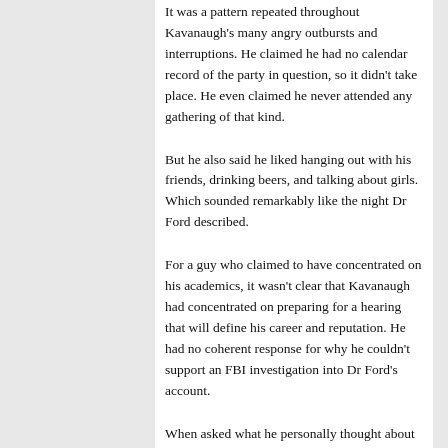It was a pattern repeated throughout Kavanaugh's many angry outbursts and interruptions. He claimed he had no calendar record of the party in question, so it didn't take place. He even claimed he never attended any gathering of that kind.
But he also said he liked hanging out with his friends, drinking beers, and talking about girls. Which sounded remarkably like the night Dr Ford described.
For a guy who claimed to have concentrated on his academics, it wasn't clear that Kavanaugh had concentrated on preparing for a hearing that will define his career and reputation. He had no coherent response for why he couldn't support an FBI investigation into Dr Ford's account.
When asked what he personally thought about an investigation, Kavanaugh sat in silence before blurting out something about the FBI not coming to conclusions.